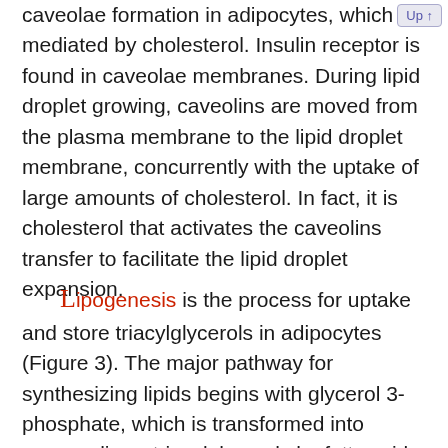caveolae formation in adipocytes, which is mediated by cholesterol. Insulin receptor is found in caveolae membranes. During lipid droplet growing, caveolins are moved from the plasma membrane to the lipid droplet membrane, concurrently with the uptake of large amounts of cholesterol. In fact, it is cholesterol that activates the caveolins transfer to facilitate the lipid droplet expansion.
Lipogenesis is the process for uptake and store triacylglycerols in adipocytes (Figure 3). The major pathway for synthesizing lipids begins with glycerol 3-phosphate, which is transformed into mono-, di-, or triacylglycerols by fatty acid esterification. This process happens in the endoplasmic reticulum. The hormone insulin favors this process by increasing the uptake of glucose by adipocytes. Glycerol 3-phosphate is